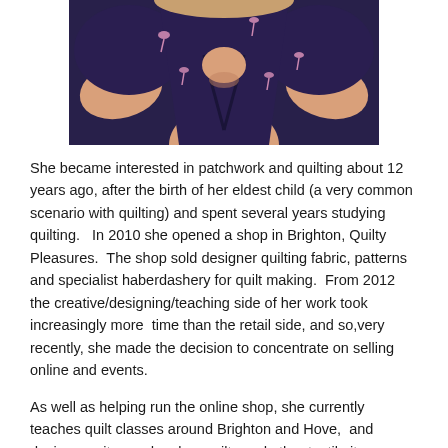[Figure (photo): Photo of a woman wearing a dark navy dress with flamingo print, showing neckline and shoulders, cropped to torso]
She became interested in patchwork and quilting about 12 years ago, after the birth of her eldest child (a very common scenario with quilting) and spent several years studying quilting.   In 2010 she opened a shop in Brighton, Quilty Pleasures.  The shop sold designer quilting fabric, patterns and specialist haberdashery for quilt making.  From 2012 the creative/designing/teaching side of her work took increasingly more  time than the retail side, and so,very recently, she made the decision to concentrate on selling online and events.
As well as helping run the online shop, she currently teaches quilt classes around Brighton and Hove,  and designs, writes and makes quilts and other textile items.